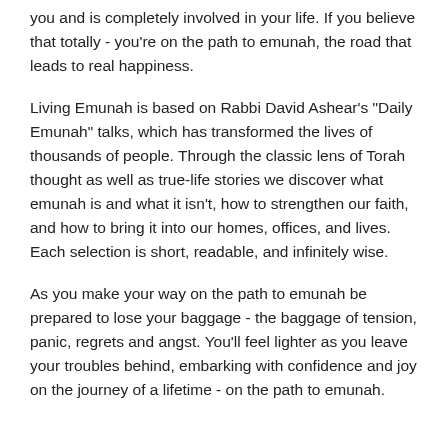you and is completely involved in your life. If you believe that totally - you're on the path to emunah, the road that leads to real happiness.
Living Emunah is based on Rabbi David Ashear's "Daily Emunah" talks, which has transformed the lives of thousands of people. Through the classic lens of Torah thought as well as true-life stories we discover what emunah is and what it isn't, how to strengthen our faith, and how to bring it into our homes, offices, and lives. Each selection is short, readable, and infinitely wise.
As you make your way on the path to emunah be prepared to lose your baggage - the baggage of tension, panic, regrets and angst. You'll feel lighter as you leave your troubles behind, embarking with confidence and joy on the journey of a lifetime - on the path to emunah.